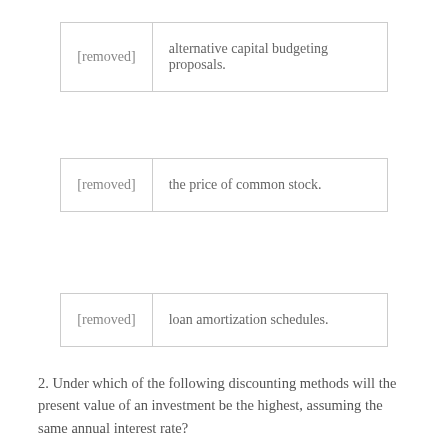| [removed] | alternative capital budgeting proposals. |
| [removed] | the price of common stock. |
| [removed] | loan amortization schedules. |
2. Under which of the following discounting methods will the present value of an investment be the highest, assuming the same annual interest rate?